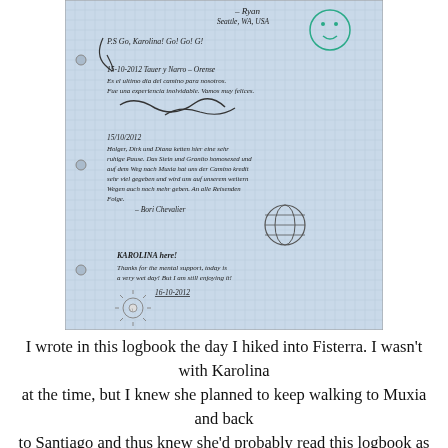[Figure (photo): A photo of a handwritten logbook page with grid/graph paper background. Multiple handwritten entries in different languages (English, German, Spanish). Entries include: '-Ryan, Seattle, WA USA', 'P.S. Go, Karolina! Go! Go! G!', '15-10-2012 Tauer y Narro - Orense', 'Es el ultimo dia del camino para nosotros. Fue una experiencia inolvidable. Vamos muy felices.', followed by signatures. '15/10/2012 Holger, Dirk und Diana ketten hier eine sehr ruhige Pause. Das Stein und Granito homosexed und auf dem Weg nach Muxia hat uns der Camino kredit sehr viel gegeben und wird uns auf unserem weitern Wegen auch noch mehr geben. An alle Reisenden Folge. -Bori Chevalier'. 'KAROLINA here! Thanks for the mental support, today is a very wet day! But I am still enjoying it! 16-10-2012'. The notebook has three-ring binding holes on the left side. A small globe drawing and a sun drawing are also visible.]
I wrote in this logbook the day I hiked into Fisterra. I wasn't with Karolina at the time, but I knew she planned to keep walking to Muxia and back to Santiago and thus knew she'd probably read this logbook as well, so I left the note saying, "Go, Karolina! Go! Go! Go!" =)